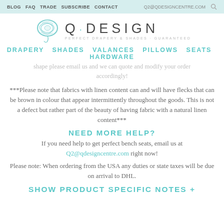BLOG  FAQ  TRADE  SUBSCRIBE  CONTACT    Q2@QDESIGNCENTRE.COM
[Figure (logo): Q Design Centre logo with yarn spool illustration and text Q·DESIGN PERFECT DRAPERY & SHADES · GUARANTEED]
DRAPERY  SHADES  VALANCES  PILLOWS  SEATS  HARDWARE
shape please email us and we can quote and modify your order accordingly!
***Please note that fabrics with linen content can and will have flecks that can be brown in colour that appear intermittently throughout the goods. This is not a defect but rather part of the beauty of having fabric with a natural linen content***
NEED MORE HELP?
If you need help to get perfect bench seats, email us at Q2@qdesigncentre.com right now!
Please note: When ordering from the USA any duties or state taxes will be due on arrival to DHL.
SHOW PRODUCT SPECIFIC NOTES +